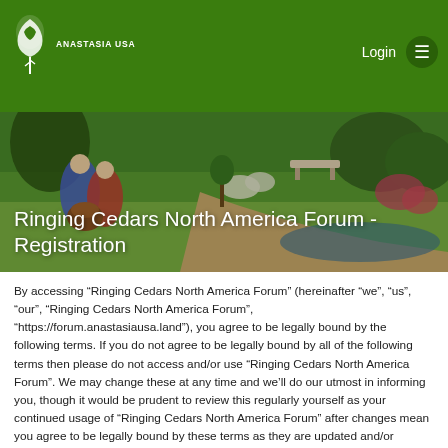Anastasia USA — Login
Ringing Cedars North America Forum - Registration
By accessing “Ringing Cedars North America Forum” (hereinafter “we”, “us”, “our”, “Ringing Cedars North America Forum”, “https://forum.anastasiausa.land”), you agree to be legally bound by the following terms. If you do not agree to be legally bound by all of the following terms then please do not access and/or use “Ringing Cedars North America Forum”. We may change these at any time and we’ll do our utmost in informing you, though it would be prudent to review this regularly yourself as your continued usage of “Ringing Cedars North America Forum” after changes mean you agree to be legally bound by these terms as they are updated and/or amended.